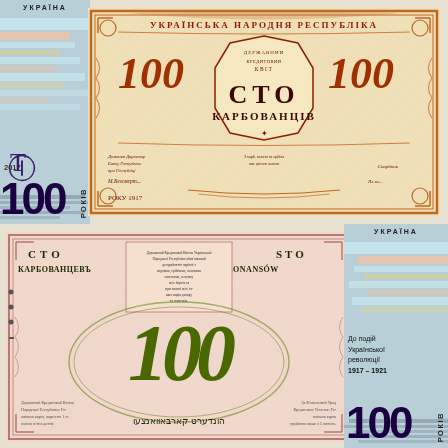[Figure (photo): Front side of Ukrainian 100 karbovantsiv banknote from 1917, commemorating 100 years of the Ukrainian Revolution 1917-1921. Features ornate orange/red engraved design with 'Українська Народна Республіка' text, '100 СТО КАРБОВАНЦІВ' denomination, signatures, and year 1917. Left side shows modern commemorative design with Ukrainian trident, color bands, and '100 РОКІВ' text with years 2017.]
[Figure (photo): Reverse side of Ukrainian 100 karbovantsiv banknote from 1917. Features pink/salmon background with green ornate '100' numeral, 'СТО КАРБОВАНЦЕВ / STO KARBONANSÓW' denomination text in multiple languages including Hebrew script at bottom. Right side shows modern commemorative design with 'УКРАЇНА', color bands, 'До подій Української революції 1917-1921' text, and '100 РОКІВ'.]